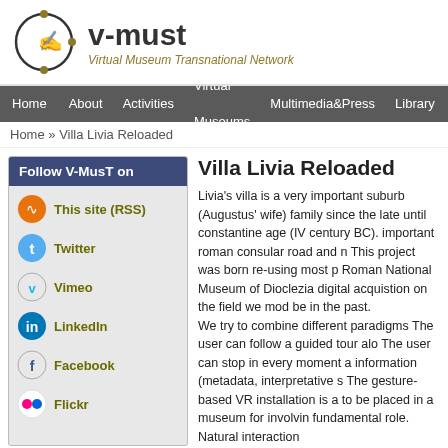[Figure (logo): V-MusT logo: circular ring with nodes and hand cursor icon]
v-must
Virtual Museum Transnational Network
Home  About  Activities  Virtual Museums  Multimedia&Press  Library  Te
Home » Villa Livia Reloaded
Follow V-MusT on
This site (RSS)
Twitter
Vimeo
LinkedIn
Facebook
Flickr
Villa Livia Reloaded
Livia's villa is a very important suburb (Augustus' wife) family since the late until constantine age (IV century BC). important roman consular road and n This project was born re-using most p Roman National Museum of Dioclezia digital acquistion on the field we mod be in the past. We try to combine different paradigms The user can follow a guided tour alo The user can stop in every moment a information (metadata, interpretative s The gesture-based VR installation is a to be placed in a museum for involvin fundamental role. Natural interaction